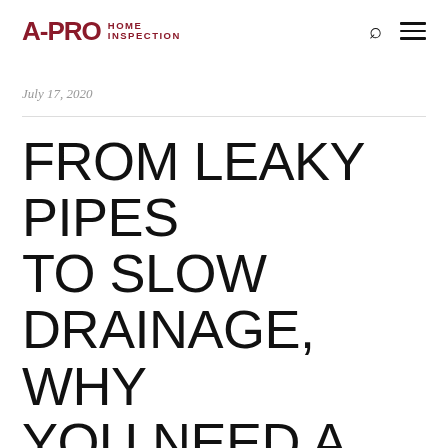A-PRO HOME INSPECTION
July 17, 2020
FROM LEAKY PIPES TO SLOW DRAINAGE, WHY YOU NEED A HOME